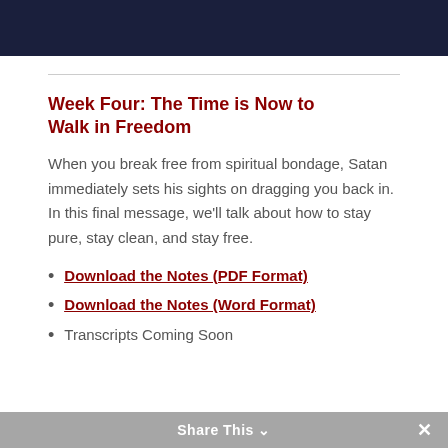[Figure (other): Dark navy blue header banner image at top of page]
Week Four: The Time is Now to Walk in Freedom
When you break free from spiritual bondage, Satan immediately sets his sights on dragging you back in. In this final message, we'll talk about how to stay pure, stay clean, and stay free.
Download the Notes (PDF Format)
Download the Notes (Word Format)
Transcripts Coming Soon
Share This ∨  ✕